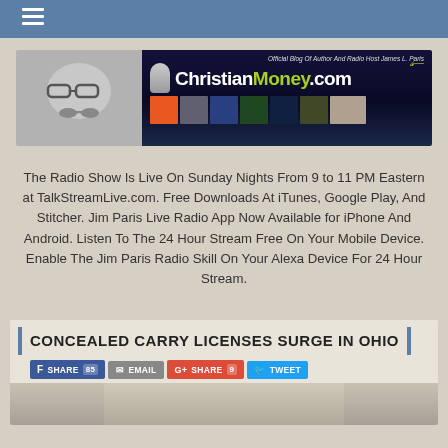Navigation menu bar
[Figure (logo): ChristianMoney.com banner logo with author illustration on left and red/dark blue background with site title and book thumbnails on right. Tag line: Official Blog Of Author And Radio Host James L. Paris]
The Radio Show Is Live On Sunday Nights From 9 to 11 PM Eastern at TalkStreamLive.com. Free Downloads At iTunes, Google Play, And Stitcher. Jim Paris Live Radio App Now Available for iPhone And Android. Listen To The 24 Hour Stream Free On Your Mobile Device. Enable The Jim Paris Radio Skill On Your Alexa Device For 24 Hour Stream.
CONCEALED CARRY LICENSES SURGE IN OHIO
SHARE 85
EMAIL
SHARE 9
TWEET